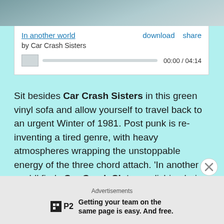[Figure (photo): Partial photograph at top of page, showing a dark background with what appears to be a person or figure, cropped]
In another world   download   share
by Car Crash Sisters
00:00 / 04:14
Sit besides Car Crash Sisters in this green vinyl sofa and allow yourself to travel back to an urgent Winter of 1981. Post punk is re-inventing a tired genre, with heavy atmospheres wrapping the unstoppable energy of the three chord attach. 'In another world' finds Car Crash Sisters relishing being trapped back in time, still having that sweet shoegaze poison in the blade, ready to cut you up, then mend you back to health. Great taster for their upcoming album.
Advertisements
P2   Getting your team on the same page is easy. And free.